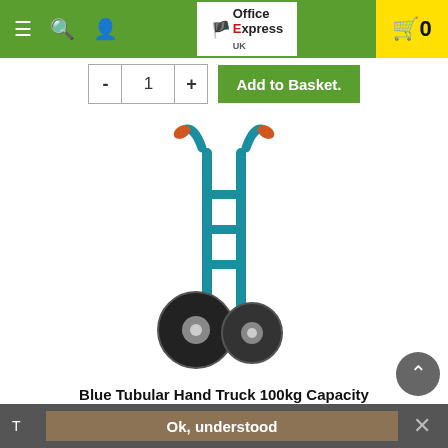Office Express UK — navigation bar with menu, search, account icons and cart (0)
- 1 + Add to Basket.
[Figure (photo): Blue tubular hand truck with two large black pneumatic wheels, orange foam grip handles, and a steel toe plate, shown on white background.]
Blue Tubular Hand Truck 100kg Capacity
Code: SBY24225
T   Ok, understood   ×